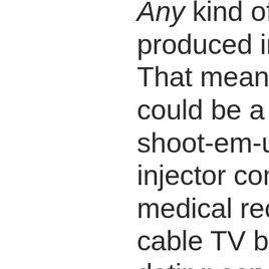Any kind of software can be produced in an Agile context. That means that the project could be a word processor, a shoot-em-up game, the fuel injector computer on a car, medical record-keeping, cable TV billing, an online dating service, automation for a convenience store distribution and logistics, rendering software for animated films, air traffic control systems, a class marking system for teachers, editing and